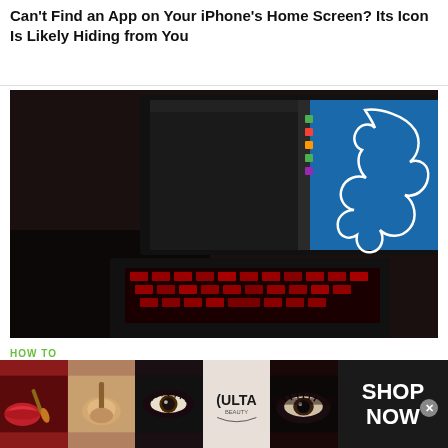Can't Find an App on Your iPhone's Home Screen? Its Icon Is Likely Hiding from You
[Figure (photo): Laptop computer with red backlit keyboard displaying dark screen with Kali Linux dragon logo on blue background]
HOW TO
Top 10 Things to Do After Installing Kali Linux
[Figure (photo): Ulta Beauty advertisement banner showing makeup product images and eye close-ups with SHOP NOW text on dark background]